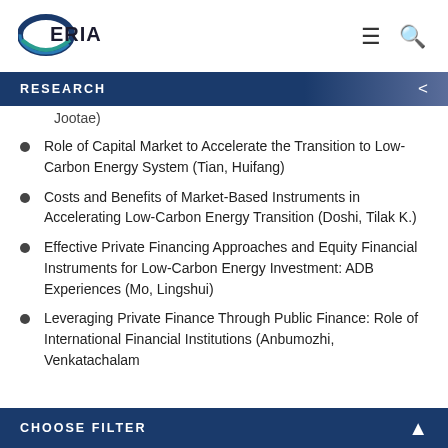[Figure (logo): ERIA logo with blue ellipse and text]
RESEARCH
Jootae)
Role of Capital Market to Accelerate the Transition to Low-Carbon Energy System (Tian, Huifang)
Costs and Benefits of Market-Based Instruments in Accelerating Low-Carbon Energy Transition (Doshi, Tilak K.)
Effective Private Financing Approaches and Equity Financial Instruments for Low-Carbon Energy Investment: ADB Experiences (Mo, Lingshui)
Leveraging Private Finance Through Public Finance: Role of International Financial Institutions (Anbumozhi, Venkatachalam
CHOOSE FILTER